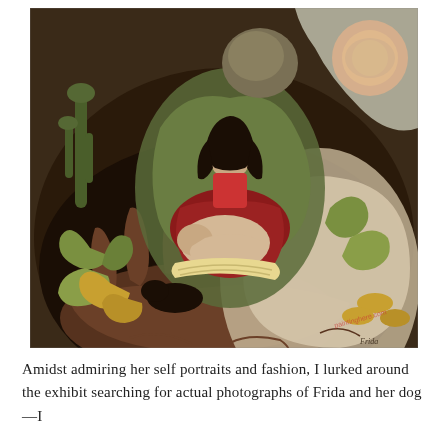[Figure (illustration): A painting by Frida Kahlo titled 'The Love Embrace of the Universe, the Earth (Mexico), Diego, Me and Señor Xólotl' (1949). The surrealist oil painting features a layered scene: a large dark earth figure cradles a lighter cosmic figure, who in turn holds Frida Kahlo cradling Diego Rivera as an infant. Lush Mexican flora including cacti and succulents surround the figures. A fiery sun orb appears in the upper right. A small dark dog rests at the base. A watermark/stamp appears in the lower right corner. The artist's signature 'Frida' is visible at the bottom right.]
Amidst admiring her self portraits and fashion, I lurked around the exhibit searching for actual photographs of Frida and her dog—I